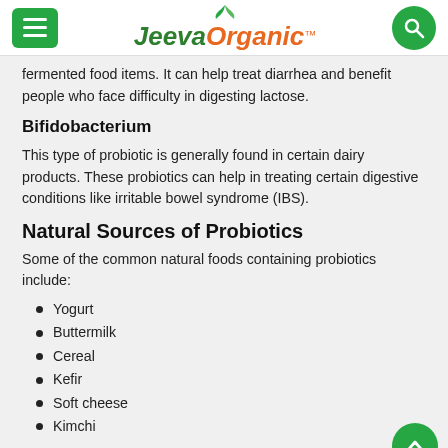JeevaOrganic™
fermented food items. It can help treat diarrhea and benefit people who face difficulty in digesting lactose.
Bifidobacterium
This type of probiotic is generally found in certain dairy products. These probiotics can help in treating certain digestive conditions like irritable bowel syndrome (IBS).
Natural Sources of Probiotics
Some of the common natural foods containing probiotics include:
Yogurt
Buttermilk
Cereal
Kefir
Soft cheese
Kimchi